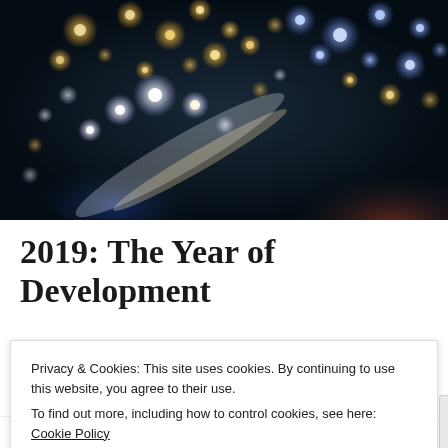[Figure (photo): Blurred bokeh photograph of city lights at night — gold, white, and blue circular bokeh lights against a dark background with a reddish-brown area in the lower right.]
2019: The Year of Development
Privacy & Cookies: This site uses cookies. By continuing to use this website, you agree to their use.
To find out more, including how to control cookies, see here: Cookie Policy
Close and accept